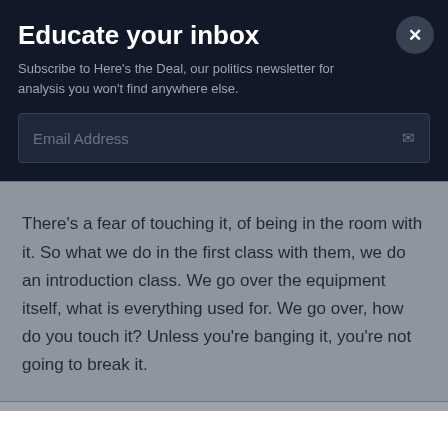Educate your inbox
Subscribe to Here's the Deal, our politics newsletter for analysis you won't find anywhere else.
Email Address
There's a fear of touching it, of being in the room with it. So what we do in the first class with them, we do an introduction class. We go over the equipment itself, what is everything used for. We go over, how do you touch it? Unless you're banging it, you're not going to break it.